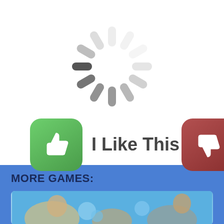[Figure (illustration): A circular loading spinner graphic made of rounded rectangular segments arranged in a clock pattern, varying from light gray at the top to dark gray at the bottom-right, indicating a loading/buffering state.]
[Figure (illustration): A green rounded square button with a white thumbs-up icon, followed by the text 'I Like This Game', and a red/brown rounded square button with a white thumbs-down icon partially visible at the right edge.]
I Like This Game
MORE GAMES:
[Figure (screenshot): Partial view of a game thumbnail image showing cartoon/animated characters at the bottom of the page.]